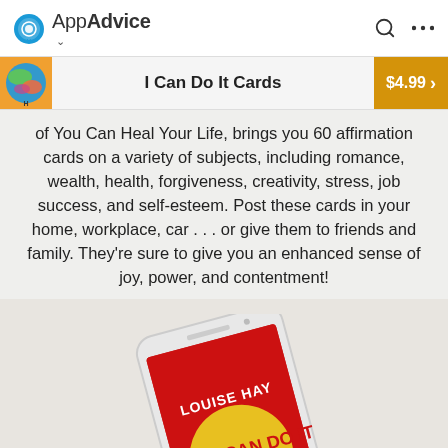AppAdvice
I Can Do It Cards
of You Can Heal Your Life, brings you 60 affirmation cards on a variety of subjects, including romance, wealth, health, forgiveness, creativity, stress, job success, and self-esteem. Post these cards in your home, workplace, car . . . or give them to friends and family. They're sure to give you an enhanced sense of joy, power, and contentment!
[Figure (screenshot): iPhone displaying the I Can Do It Cards app with Louise Hay red card background]